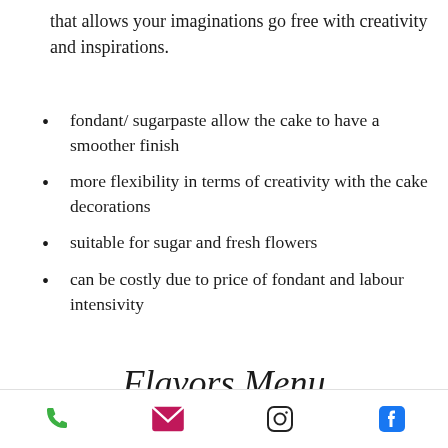that allows your imaginations go free with creativity and inspirations.
fondant/ sugarpaste allow the cake to have a smoother finish
more flexibility in terms of creativity with the cake decorations
suitable for sugar and fresh flowers
can be costly due to price of fondant and labour intensivity
Flavors Menu
[Figure (photo): A blurred/blended gray-blue background photo, partially visible, appearing to be a food or cake related image]
Phone | Email | Instagram | Facebook icons